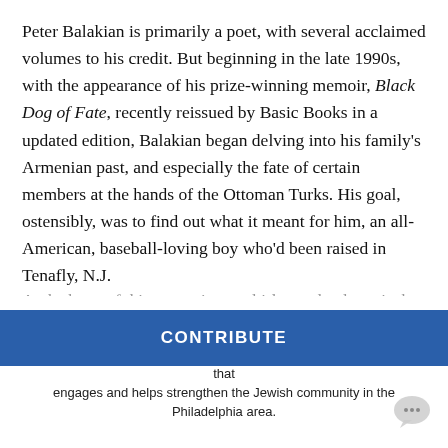Peter Balakian is primarily a poet, with several acclaimed volumes to his credit. But beginning in the late 1990s, with the appearance of his prize-winning memoir, Black Dog of Fate, recently reissued by Basic Books in a updated edition, Balakian began delving into his family's Armenian past, and especially the fate of certain members at the hands of the Ottoman Turks. His goal, ostensibly, was to find out what it meant for him, an all-American, baseball-loving boy who'd been raised in Tenafly, N.J.
At the heart of this expansive, multi-layered volume is the author's personal discovery of the truth about what the Turkish government did — what Balakian has called "the first time a state bureaucracy was mobilized against an entire people." He also examines his family dealt with the issue of the mass slaughter, w... had directly affected his relatives, his beloved grandm...
PHILADELPHIA JEWISH EXPONENT IS HERE FOR YOU
Your voluntary contribution supports our efforts to deliver content that engages and helps strengthen the Jewish community in the Philadelphia area.
CONTRIBUTE